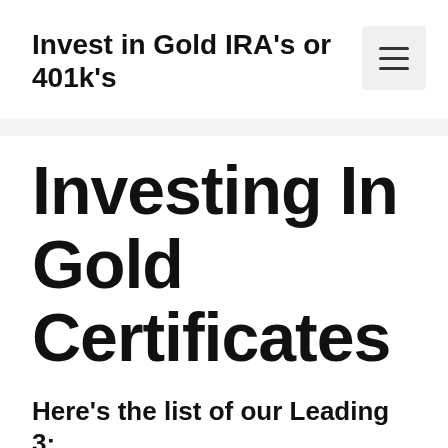Invest in Gold IRA's or 401k's
Investing In Gold Certificates
Here's the list of our Leading 3: